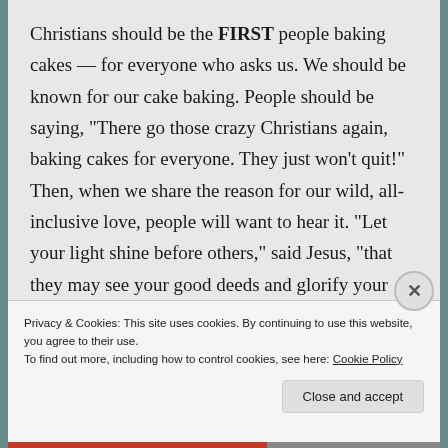Christians should be the FIRST people baking cakes — for everyone who asks us. We should be known for our cake baking. People should be saying, “There go those crazy Christians again, baking cakes for everyone. They just won’t quit!” Then, when we share the reason for our wild, all-inclusive love, people will want to hear it. “Let your light shine before others,” said Jesus, “that they may see your good deeds and glorify your Father in heaven.
Privacy & Cookies: This site uses cookies. By continuing to use this website, you agree to their use.
To find out more, including how to control cookies, see here: Cookie Policy